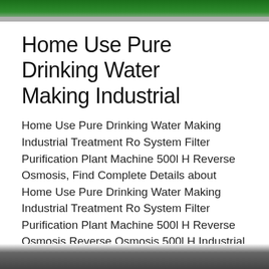[Figure (photo): Top portion of a green industrial water treatment machine/equipment]
Home Use Pure Drinking Water Making Industrial
Home Use Pure Drinking Water Making Industrial Treatment Ro System Filter Purification Plant Machine 500l H Reverse Osmosis, Find Complete Details about Home Use Pure Drinking Water Making Industrial Treatment Ro System Filter Purification Plant Machine 500l H Reverse Osmosis,Reverse Osmosis 500l H,Industrial Ro Plant,Home Ro System from Water Treatment Supplier or …
[Figure (other): Orange 'Get Price' button]
[Figure (photo): Bottom portion of another industrial water treatment product image]